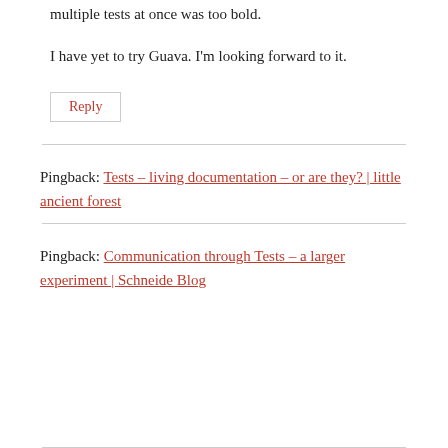multiple tests at once was too bold.
I have yet to try Guava. I'm looking forward to it.
Reply
Pingback: Tests – living documentation – or are they? | little ancient forest
Pingback: Communication through Tests – a larger experiment | Schneide Blog